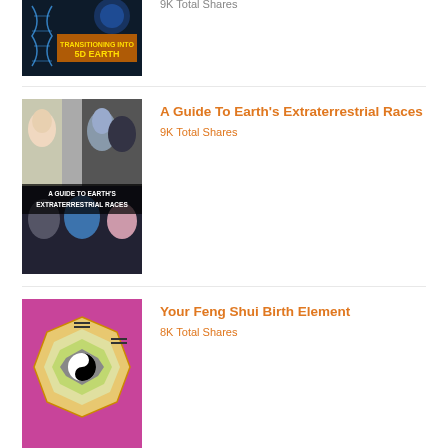[Figure (photo): Transitioning Into 5D Earth book/article thumbnail with space and DNA imagery]
9K Total Shares
[Figure (photo): A Guide To Earth's Extraterrestrial Races thumbnail showing alien faces]
A Guide To Earth's Extraterrestrial Races
9K Total Shares
[Figure (photo): Your Feng Shui Birth Element thumbnail showing bagua/yin-yang diagram on pink background]
Your Feng Shui Birth Element
8K Total Shares
[Figure (photo): 15 Tips For Empaths and Highly Sensitive People thumbnail with blue/purple energy figure]
15 Tips For Empaths and Highly Sensitive People
8K Total Shares